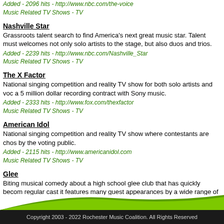Added - 2096 hits - http://www.nbc.com/the-voice
Music Related TV Shows - TV
Nashville Star
Grassroots talent search to find America's next great music star. Talent must welcomes not only solo artists to the stage, but also duos and trios.
Added - 2239 hits - http://www.nbc.com/Nashville_Star
Music Related TV Shows - TV
The X Factor
National singing competition and reality TV show for both solo artists and voc a 5 million dollar recording contract with Sony music.
Added - 2333 hits - http://www.fox.com/thexfactor
Music Related TV Shows - TV
American Idol
National singing competition and reality TV show where contestants are chos by the voting public.
Added - 2115 hits - http://www.americanidol.com
Music Related TV Shows - TV
Glee
Biting musical comedy about a high school glee club that has quickly becom regular cast it features many guest appearances by a wide range of talented
Added - 2557 hits - http://www.fox.com/glee
Music Related TV Shows - TV
Copyright 2003 - 2022 Rochester Music Coalition. All Rights Reserved